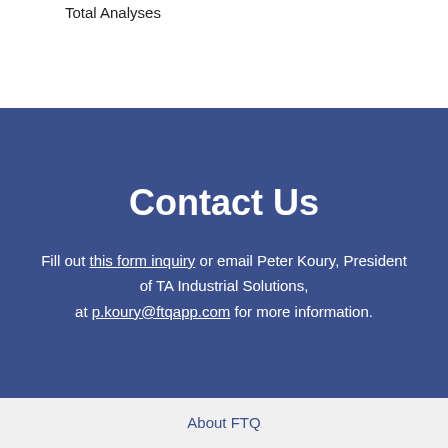Total Analyses
Contact Us
Fill out this form inquiry or email Peter Koury, President of TA Industrial Solutions, at p.koury@ftqapp.com for more information.
About FTQ